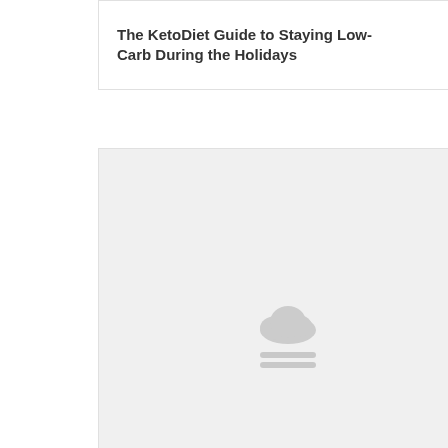The KetoDiet Guide to Staying Low-Carb During the Holidays
[Figure (photo): Placeholder image with cloud and bar icon on light gray background]
Low-Carb Orangello Liqueur
[Figure (photo): Partially visible placeholder image at bottom of page, light gray background]